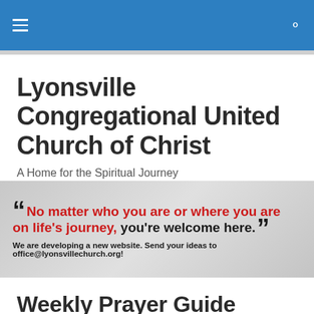Lyonsville Congregational United Church of Christ — navigation header
Lyonsville Congregational United Church of Christ
A Home for the Spiritual Journey
[Figure (infographic): Gray gradient banner with large quote marks. Text reads: 'No matter who you are or where you are on life's journey, you're welcome here.' with a notice: 'We are developing a new website. Send your ideas to office@lyonsvillechurch.org!']
Weekly Prayer Guide
There are as many ways to pray as there are people in the world... if not more! This is not a list of the "right" ways to